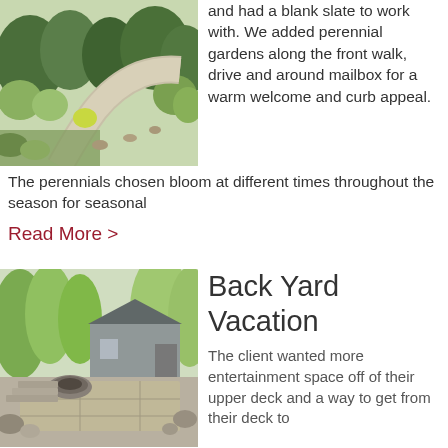[Figure (photo): Garden path with curving walkway, perennial plantings and shrubs on either side]
and had a blank slate to work with. We added perennial gardens along the front walk, drive and around mailbox for a warm welcome and curb appeal.
The perennials chosen bloom at different times throughout the season for seasonal
Read More >
[Figure (photo): Backyard patio with stone firepit, steps, and boulders with a house and trees in the background]
Back Yard Vacation
The client wanted more entertainment space off of their upper deck and a way to get from their deck to